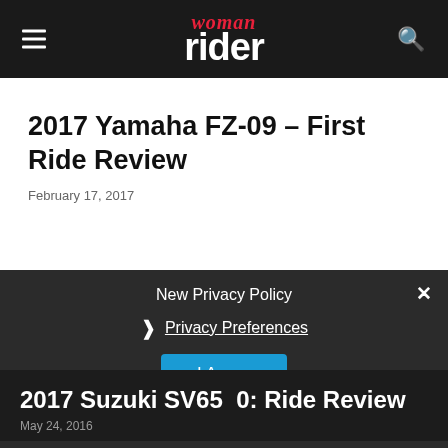woman rider
2017 Yamaha FZ-09 – First Ride Review
February 17, 2017
New Privacy Policy
Privacy Preferences
I Agree
2017 Suzuki SV650: Ride Review
May 24, 2016